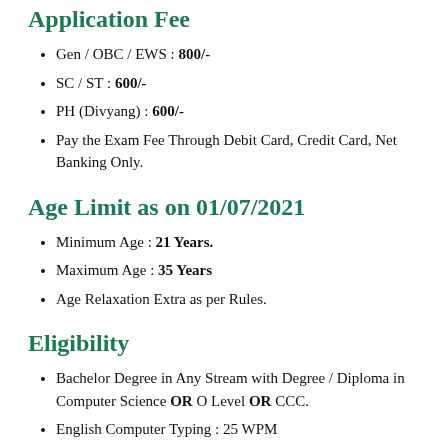Application Fee
Gen / OBC / EWS : 800/-
SC / ST : 600/-
PH (Divyang) : 600/-
Pay the Exam Fee Through Debit Card, Credit Card, Net Banking Only.
Age Limit as on 01/07/2021
Minimum Age : 21 Years.
Maximum Age : 35 Years
Age Relaxation Extra as per Rules.
Eligibility
Bachelor Degree in Any Stream with Degree / Diploma in Computer Science OR O Level OR CCC.
English Computer Typing : 25 WPM